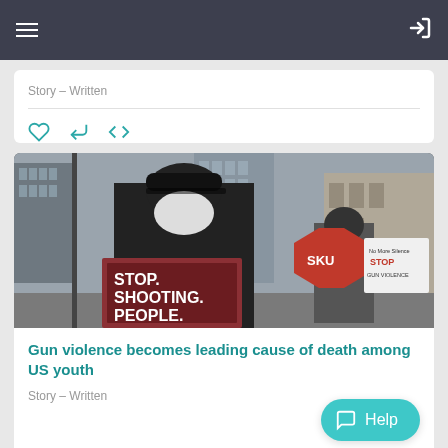Navigation header with hamburger menu and login icon
Story – Written
[Figure (screenshot): Social interaction icons: heart (like), share (arrow), and embed (</>)]
[Figure (photo): Protest photo showing people holding signs including 'STOP. SHOOTING. PEOPLE.' and 'SKU' and 'STOP GUN VIOLENCE' signs on a city street, person in foreground wearing a black cap and face mask]
Gun violence becomes leading cause of death among US youth
Story – Written